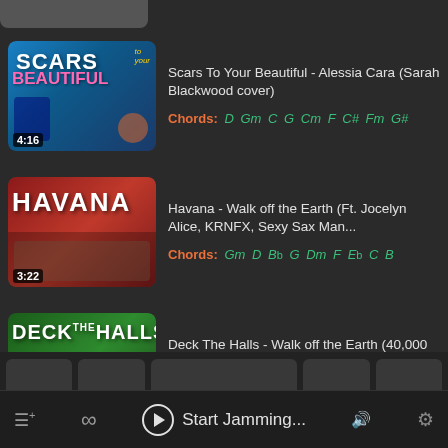[Figure (screenshot): Music app screenshot showing a list of songs with chord information]
Scars To Your Beautiful - Alessia Cara (Sarah Blackwood cover)
Chords: D Gm C G Cm F C# Fm G#
Havana - Walk off the Earth (Ft. Jocelyn Alice, KRNFX, Sexy Sax Man...
Chords: Gm D Bb G Dm F Eb C B
Deck The Halls - Walk off the Earth (40,000 Feet In The Air!)
Chords: A Am Abm Em E C G D F
Start Jamming...